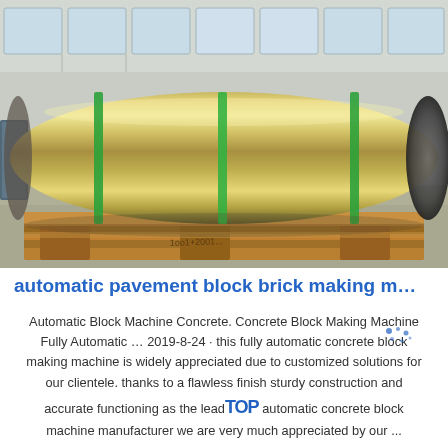[Figure (photo): A large cylindrical metal roll (steel drum or roller) wrapped with green straps, resting on a wooden pallet inside an industrial warehouse. The cylinder has a gold/bronze metallic sheen. The warehouse has windows visible in the background.]
automatic pavement block brick making m…
Automatic Block Machine Concrete. Concrete Block Making Machine Fully Automatic … 2019-8-24 · this fully automatic concrete block making machine is widely appreciated due to customized solutions for our clientele. thanks to a flawless finish sturdy construction and accurate functioning as the leading fully automatic concrete block machine manufacturer we are very much appreciated by our ...